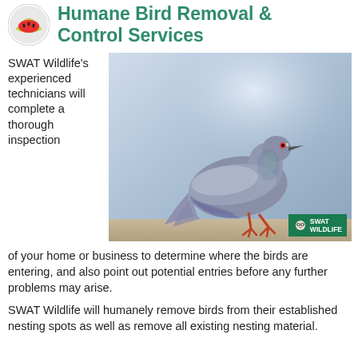Humane Bird Removal & Control Services
[Figure (photo): A pigeon walking on a surface, shown in profile against a grey-blue sky background. SWAT Wildlife logo badge in bottom-right corner.]
SWAT Wildlife's experienced technicians will complete a thorough inspection of your home or business to determine where the birds are entering, and also point out potential entries before any further problems may arise.
SWAT Wildlife will humanely remove birds from their established nesting spots as well as remove all existing nesting material.